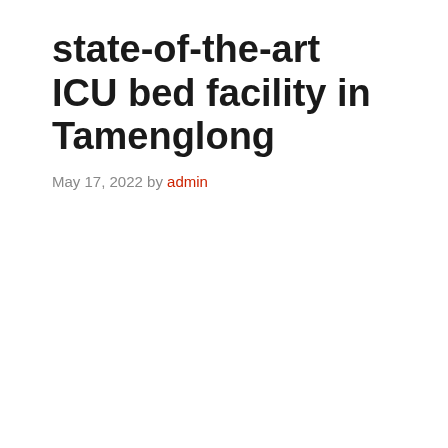state-of-the-art ICU bed facility in Tamenglong
May 17, 2022 by admin